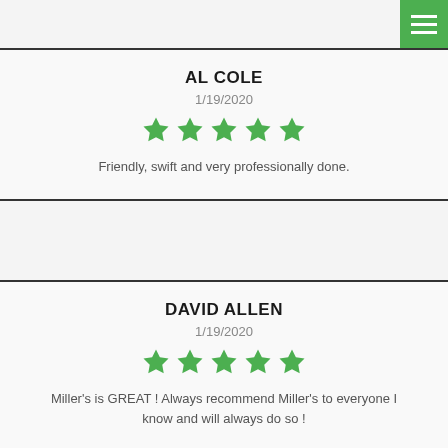AL COLE
1/19/2020
[Figure (other): 5 green stars rating]
Friendly, swift and very professionally done.
DAVID ALLEN
1/19/2020
[Figure (other): 5 green stars rating]
Miller's is GREAT ! Always recommend Miller's to everyone I know and will always do so !